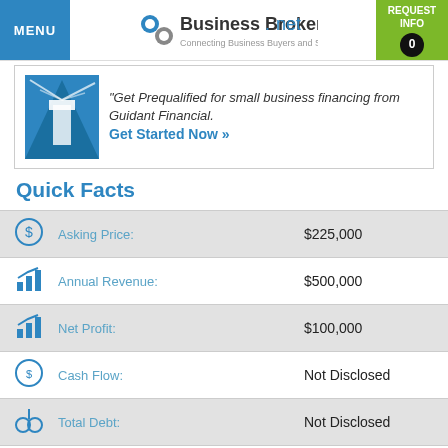MENU | BusinessBroker.net - Connecting Business Buyers and Sellers | REQUEST INFO 0
[Figure (infographic): Advertisement banner: lighthouse illustration with text 'Get Prequalified for small business financing from Guidant Financial. Get Started Now »']
Quick Facts
|  | Label | Value |
| --- | --- | --- |
| [icon] | Asking Price: | $225,000 |
| [icon] | Annual Revenue: | $500,000 |
| [icon] | Net Profit: | $100,000 |
| [icon] | Cash Flow: | Not Disclosed |
| [icon] | Total Debt: | Not Disclosed |
| [icon] | FF&E: | $125,000 |
| [icon] | Real Estate: | Not Disclosed |
| [icon] | Year Established: | 1975 |